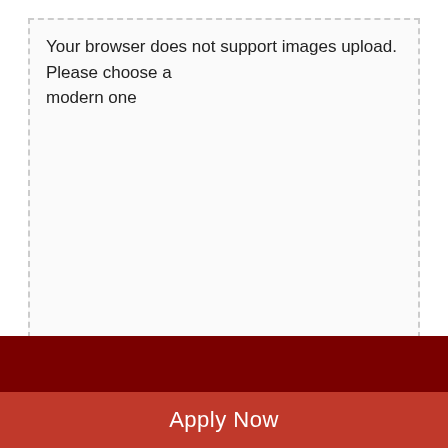Your browser does not support images upload. Please choose a modern one
Academic
Support
Facility
E Books
SUBMIT
Apply Now